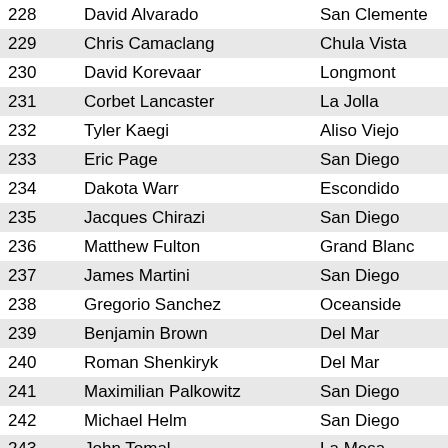| # | Name | City |
| --- | --- | --- |
| 228 | David Alvarado | San Clemente |
| 229 | Chris Camaclang | Chula Vista |
| 230 | David Korevaar | Longmont |
| 231 | Corbet Lancaster | La Jolla |
| 232 | Tyler Kaegi | Aliso Viejo |
| 233 | Eric Page | San Diego |
| 234 | Dakota Warr | Escondido |
| 235 | Jacques Chirazi | San Diego |
| 236 | Matthew Fulton | Grand Blanc |
| 237 | James Martini | San Diego |
| 238 | Gregorio Sanchez | Oceanside |
| 239 | Benjamin Brown | Del Mar |
| 240 | Roman Shenkiryk | Del Mar |
| 241 | Maximilian Palkowitz | San Diego |
| 242 | Michael Helm | San Diego |
| 243 | John Tomal | La Mesa |